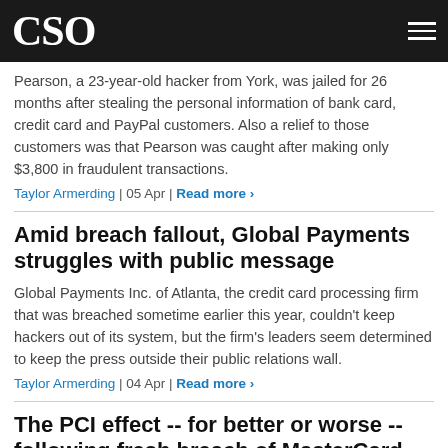CSO
Pearson, a 23-year-old hacker from York, was jailed for 26 months after stealing the personal information of bank card, credit card and PayPal customers. Also a relief to those customers was that Pearson was caught after making only $3,800 in fraudulent transactions.
Taylor Armerding | 05 Apr | Read more ›
Amid breach fallout, Global Payments struggles with public message
Global Payments Inc. of Atlanta, the credit card processing firm that was breached sometime earlier this year, couldn't keep hackers out of its system, but the firm's leaders seem determined to keep the press outside their public relations wall.
Taylor Armerding | 04 Apr | Read more ›
The PCI effect -- for better or worse -- following fresh breach of MasterCard, VISA